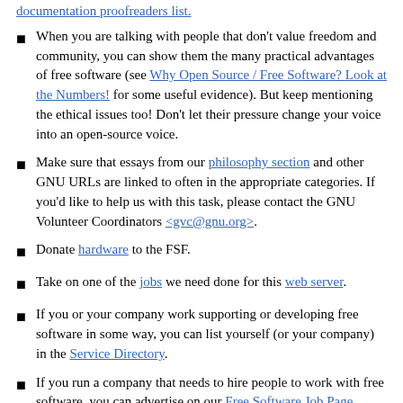documentation proofreaders list.
When you are talking with people that don't value freedom and community, you can show them the many practical advantages of free software (see Why Open Source / Free Software? Look at the Numbers! for some useful evidence). But keep mentioning the ethical issues too! Don't let their pressure change your voice into an open-source voice.
Make sure that essays from our philosophy section and other GNU URLs are linked to often in the appropriate categories. If you'd like to help us with this task, please contact the GNU Volunteer Coordinators <gvc@gnu.org>.
Donate hardware to the FSF.
Take on one of the jobs we need done for this web server.
If you or your company work supporting or developing free software in some way, you can list yourself (or your company) in the Service Directory.
If you run a company that needs to hire people to work with free software, you can advertise on our Free Software Job Page.